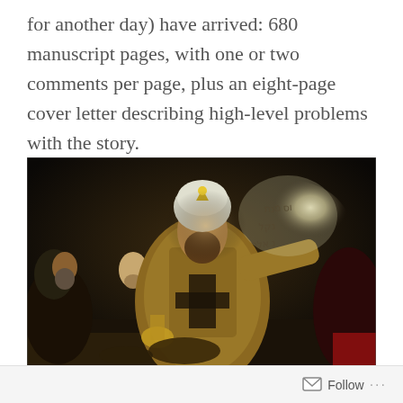for another day) have arrived: 680 manuscript pages, with one or two comments per page, plus an eight-page cover letter describing high-level problems with the story.
[Figure (photo): Rembrandt's painting 'Belshazzar's Feast' showing a king in ornate robes and crown reacting to glowing Hebrew writing on a dark wall, surrounded by figures at a banquet table]
Follow